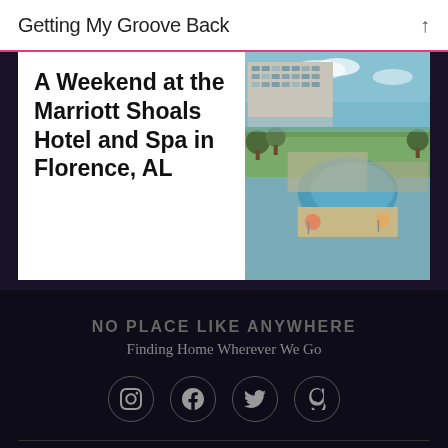Getting My Groove Back
A Weekend at the Marriott Shoals Hotel and Spa in Florence, AL
[Figure (photo): Aerial/elevated view of Marriott Shoals Hotel and Spa outdoor pool area and green grounds in Florence, AL]
NO PLACE LIKE ANYWHERE
Finding Home Wherever We Go
[Figure (infographic): Social media icons: Instagram, Facebook, Twitter, Goodreads — each in a circle outline]
Follow No Place Like Anywhere
Top Posts
A Week at the Sandestin Golf and Beach Resort